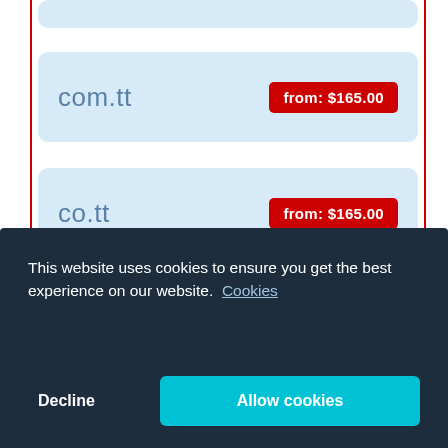com.tt — from: $165.00
co.tt — from: $165.00
net.tt — from: $165.00
This website uses cookies to ensure you get the best experience on our website. Cookies
Decline
Allow cookies